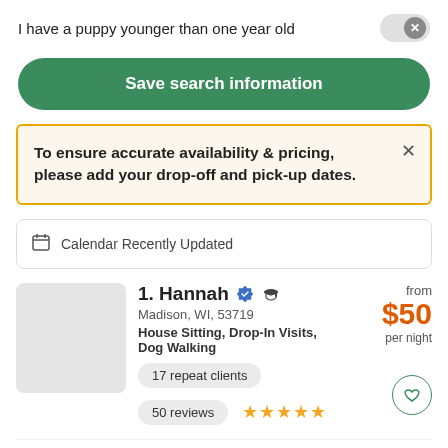I have a puppy younger than one year old
Save search information
To ensure accurate availability & pricing, please add your drop-off and pick-up dates.
Calendar Recently Updated
1. Hannah  Madison, WI, 53719  House Sitting, Drop-In Visits, Dog Walking  17 repeat clients  50 reviews  from $50 per night